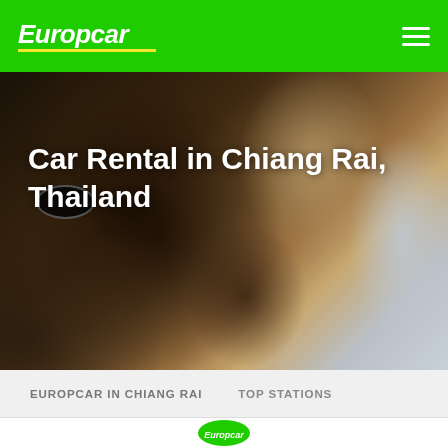Europcar
[Figure (photo): Hero image of a person with curly hair and sunglasses leaning out of a car window, warm toned photograph]
Car Rental in Chiang Rai, Thailand
EUROPCAR IN CHIANG RAI
TOP STATIONS